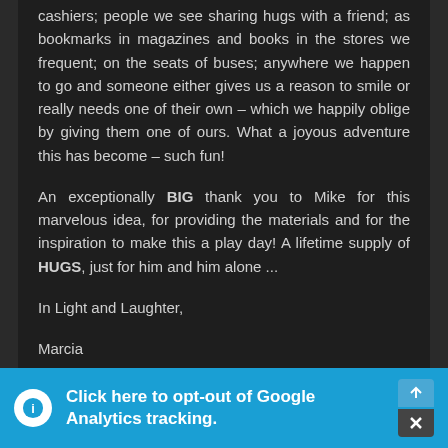cashiers; people we see sharing hugs with a friend; as bookmarks in magazines and books in the stores we frequent; on the seats of buses; anywhere we happen to go and someone either gives us a reason to smile or really needs one of their own – which we happily oblige by giving them one of ours. What a joyous adventure this has become – such fun!
An exceptionally BIG thank you to Mike for this marvelous idea, for providing the materials and for the inspiration to make this a play day! A lifetime supply of HUGS, just for him and him alone ...
In Light and Laughter,
Marcia
Click here to opt-out of Google Analytics tracking.